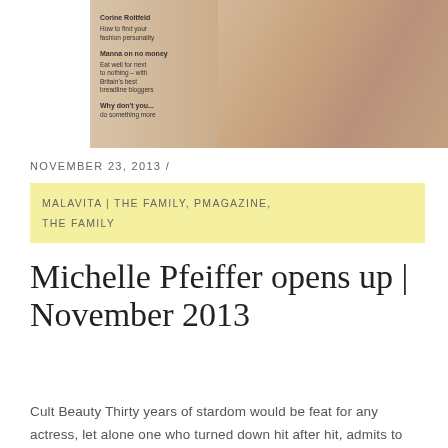[Figure (photo): Magazine cover showing a blonde woman in a peach/beige outfit, with text overlays including 'Corine Roitfeld How to find your fashion personality', 'Manna on no money Eat well for next to nothing – with Britain's best breadline bloggers', and 'Why don't you... do something more']
NOVEMBER 23, 2013 /
MALAVITA | THE FAMILY, PMAGAZINE, THE FAMILY
Michelle Pfeiffer opens up | November 2013
Cult Beauty Thirty years of stardom would be feat for any actress, let alone one who turned down hit after hit, admits to being